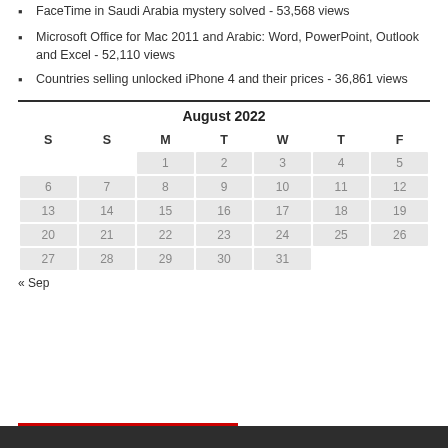FaceTime in Saudi Arabia mystery solved - 53,568 views
Microsoft Office for Mac 2011 and Arabic: Word, PowerPoint, Outlook and Excel - 52,110 views
Countries selling unlocked iPhone 4 and their prices - 36,861 views
| S | S | M | T | W | T | F |
| --- | --- | --- | --- | --- | --- | --- |
|  |  | 1 | 2 | 3 | 4 | 5 |
| 6 | 7 | 8 | 9 | 10 | 11 | 12 |
| 13 | 14 | 15 | 16 | 17 | 18 | 19 |
| 20 | 21 | 22 | 23 | 24 | 25 | 26 |
| 27 | 28 | 29 | 30 | 31 |  |  |
« Sep